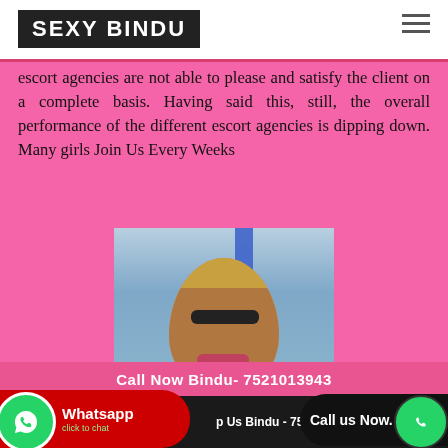SEXY BINDU
escort agencies are not able to please and satisfy the client on a complete basis. Having said this, still, the overall performance of the different escort agencies is dipping down. Many girls Join Us Every Weeks
[Figure (photo): Young woman with highlighted hair near water, with a blue pole in background]
Call Now Bindu- 7521013943
Whatsapp Us Bindu - 7521013943
Call us Now.